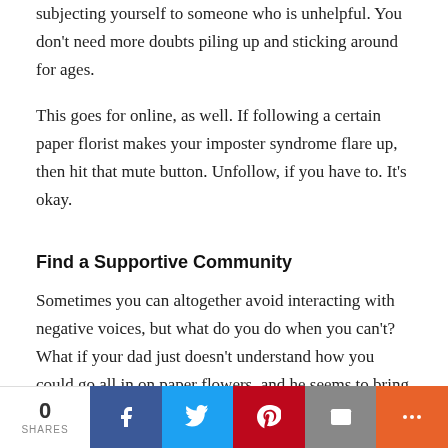subjecting yourself to someone who is unhelpful. You don't need more doubts piling up and sticking around for ages.
This goes for online, as well. If following a certain paper florist makes your imposter syndrome flare up, then hit that mute button. Unfollow, if you have to. It's okay.
Find a Supportive Community
Sometimes you can altogether avoid interacting with negative voices, but what do you do when you can't? What if your dad just doesn't understand how you could go all in on paper flowers, and he seems to bring it up at every family
0 SHARES | Facebook | Twitter | Pinterest | Email | More